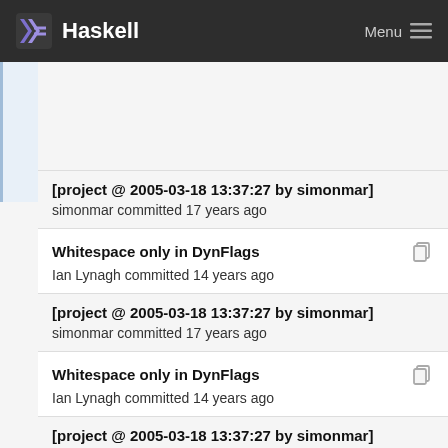Haskell  Menu
[project @ 2005-03-18 13:37:27 by simonmar]
simonmar committed 17 years ago
Whitespace only in DynFlags
Ian Lynagh committed 14 years ago
[project @ 2005-03-18 13:37:27 by simonmar]
simonmar committed 17 years ago
Whitespace only in DynFlags
Ian Lynagh committed 14 years ago
[project @ 2005-03-18 13:37:27 by simonmar]
simonmar committed 17 years ago
Whitespace only in DynFlags
Ian Lynagh committed 14 years ago